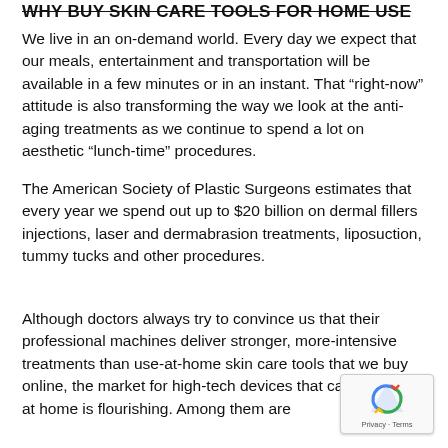WHY BUY SKIN CARE TOOLS FOR HOME USE
We live in an on-demand world. Every day we expect that our meals, entertainment and transportation will be available in a few minutes or in an instant. That “right-now” attitude is also transforming the way we look at the anti-aging treatments as we continue to spend a lot on aesthetic “lunch-time” procedures.
The American Society of Plastic Surgeons estimates that every year we spend out up to $20 billion on dermal fillers injections, laser and dermabrasion treatments, liposuction, tummy tucks and other procedures.
Although doctors always try to convince us that their professional machines deliver stronger, more-intensive treatments than use-at-home skin care tools that we buy online, the market for high-tech devices that can be used at home is flourishing. Among them are